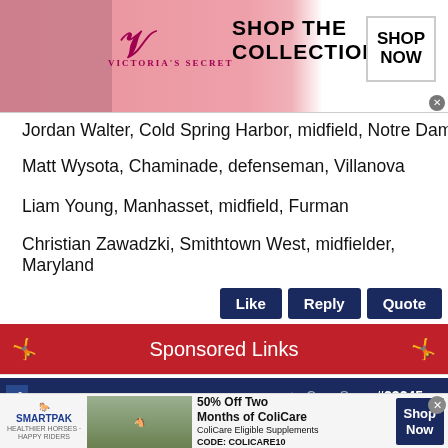[Figure (photo): Victoria's Secret advertisement banner with model, VS logo, 'SHOP THE COLLECTION' text and 'SHOP NOW' button]
Jordan Walter, Cold Spring Harbor, midfield, Notre Dame
Matt Wysota, Chaminade, defenseman, Villanova
Liam Young, Manhasset, midfield, Furman
Christian Zawadzki, Smithtown West, midfielder, Maryland
Like  Reply  Quote
Sponsored Links
CageSage  #23245
CageSage  OP  Joined: Oct 2010
Back of THE CAGE  Likes: 1
[Figure (photo): SmartPak advertisement: 50% Off Two Months of ColiCare, ColiCare Eligible Supplements, CODE: COLICARE10, Shop Now button]